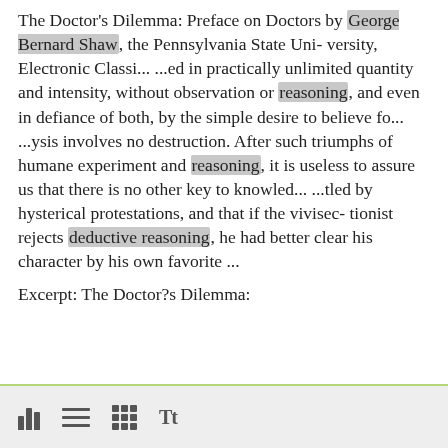The Doctor's Dilemma: Preface on Doctors by George Bernard Shaw, the Pennsylvania State Uni- versity, Electronic Classi... ...ed in practically unlimited quantity and intensity, without observation or reasoning, and even in defiance of both, by the simple desire to believe fo... ...ysis involves no destruction. After such triumphs of humane experiment and reasoning, it is useless to assure us that there is no other key to knowled... ...tled by hysterical protestations, and that if the vivisec- tionist rejects deductive reasoning, he had better clear his character by his own favorite ...
Excerpt: The Doctor?s Dilemma:
[toolbar icons: bar chart, lines, grid, Tt]